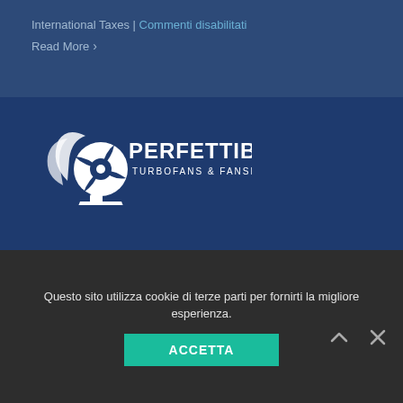International Taxes | Commenti disabilitati
Read More >
[Figure (logo): Perfettibile Turbofans & Fanservice logo — white turbofan icon with swirl lines and company name in white text]
Via Kennedy 7/9
24030 Solza (BG)
C.F. / P.IVA 04927380966
Tel. +39 393 8936652
+39 039 5967942
info@perfettibile.com
Questo sito utilizza cookie di terze parti per fornirti la migliore esperienza.
ACCETTA